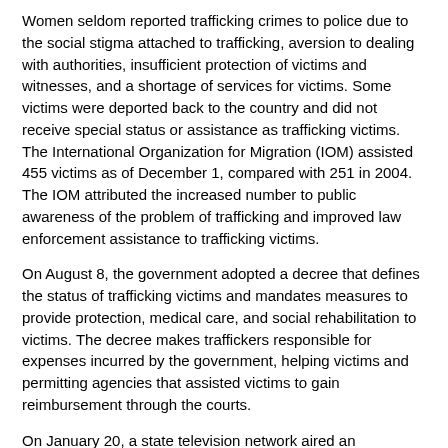Women seldom reported trafficking crimes to police due to the social stigma attached to trafficking, aversion to dealing with authorities, insufficient protection of victims and witnesses, and a shortage of services for victims. Some victims were deported back to the country and did not receive special status or assistance as trafficking victims. The International Organization for Migration (IOM) assisted 455 victims as of December 1, compared with 251 in 2004. The IOM attributed the increased number to public awareness of the problem of trafficking and improved law enforcement assistance to trafficking victims.
On August 8, the government adopted a decree that defines the status of trafficking victims and mandates measures to provide protection, medical care, and social rehabilitation to victims. The decree makes traffickers responsible for expenses incurred by the government, helping victims and permitting agencies that assisted victims to gain reimbursement through the courts.
On January 20, a state television network aired an antitrafficking film during prime time. There was also an increase in the number of antitrafficking billboards and television and radio public announcements through the year.
The IOM, the UN Development Program (UNDP), and La Strada/Young Women's Christian Association (YWCA) conducted national awareness campaigns and provided training to NGOs in regional towns. La Strada/YWCA and the IOM continued to open and operate hotlines. On August 23, the IOM and other official foreign donors began a two-year program to combat trafficking through the economic empowerment of women. The government did not conduct any trafficking awareness